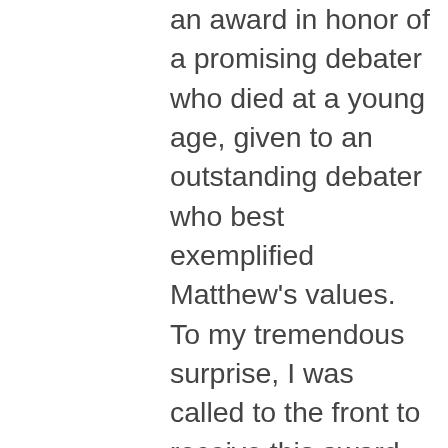an award in honor of a promising debater who died at a young age, given to an outstanding debater who best exemplified Matthew's values. To my tremendous surprise, I was called to the front to receive this award. Even then, I was not sure I deserved it. Looking back, despite my record and my performance on the day of the tournament, it was my hard work, probing curiosity, and desire to learn that set me apart for this award. It was on that day that I truly learned failure is okay, since our recognition can come in ways we don't expect. Even if we don't all win the Mathew Ornstein Outstanding Debater award, we can certainly learn from our failures.